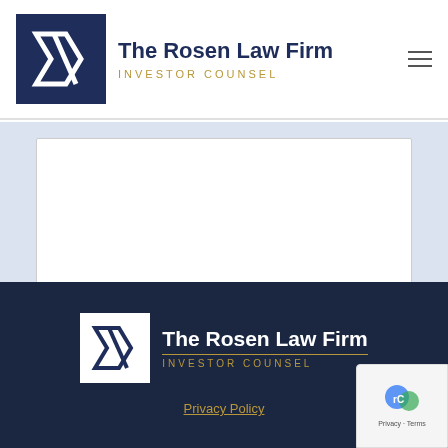The Rosen Law Firm INVESTOR COUNSEL
[Figure (screenshot): White textarea input box (form field) on light blue-gray background]
[Figure (screenshot): Submit button — tan/gold colored rectangle with white bold text 'Submit']
The Rosen Law Firm INVESTOR COUNSEL Privacy Policy
[Figure (screenshot): reCAPTCHA badge in bottom right corner showing shield icon and Privacy - Terms text]